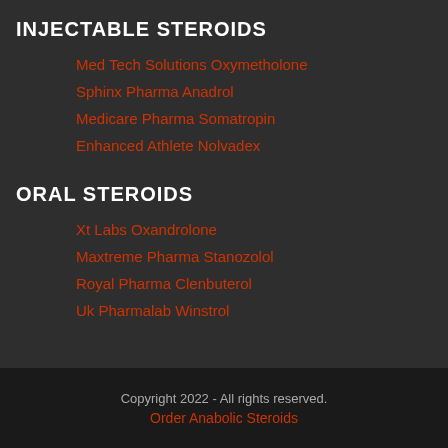INJECTABLE STEROIDS
Med Tech Solutions Oxymetholone
Sphinx Pharma Anadrol
Medicare Pharma Somatropin
Enhanced Athlete Nolvadex
ORAL STEROIDS
Xt Labs Oxandrolone
Maxtreme Pharma Stanozolol
Royal Pharma Clenbuterol
Uk Pharmalab Winstrol
Copyright 2022 - All rights reserved.
Order Anabolic Steroids